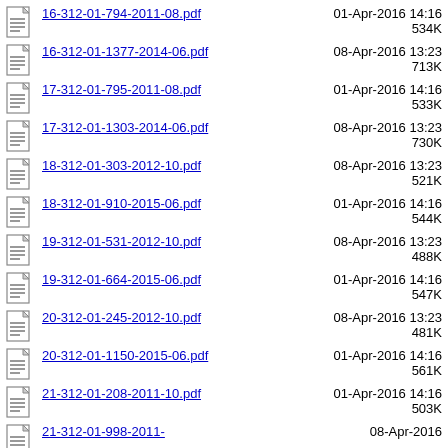16-312-01-794-2011-08.pdf | 01-Apr-2016 14:16 | 534K
16-312-01-1377-2014-06.pdf | 08-Apr-2016 13:23 | 713K
17-312-01-795-2011-08.pdf | 01-Apr-2016 14:16 | 533K
17-312-01-1303-2014-06.pdf | 08-Apr-2016 13:23 | 730K
18-312-01-303-2012-10.pdf | 08-Apr-2016 13:23 | 521K
18-312-01-910-2015-06.pdf | 01-Apr-2016 14:16 | 544K
19-312-01-531-2012-10.pdf | 08-Apr-2016 13:23 | 488K
19-312-01-664-2015-06.pdf | 01-Apr-2016 14:16 | 547K
20-312-01-245-2012-10.pdf | 08-Apr-2016 13:23 | 481K
20-312-01-1150-2015-06.pdf | 01-Apr-2016 14:16 | 561K
21-312-01-208-2011-10.pdf | 01-Apr-2016 14:16 | 503K
21-312-01-998-2011-... | 08-Apr-2016 ...